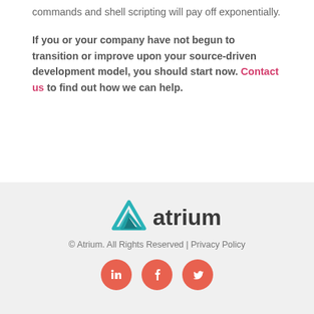commands and shell scripting will pay off exponentially.
If you or your company have not begun to transition or improve upon your source-driven development model, you should start now. Contact us to find out how we can help.
[Figure (logo): Atrium logo with teal triangle icon and dark gray 'atrium' wordmark]
© Atrium. All Rights Reserved | Privacy Policy
[Figure (other): Three social media icons (LinkedIn, Facebook, Twitter) as salmon/coral colored circles with white icons]